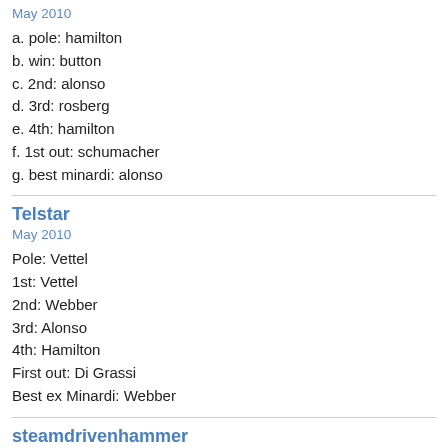May 2010
a. pole: hamilton
b. win: button
c. 2nd: alonso
d. 3rd: rosberg
e. 4th: hamilton
f. 1st out: schumacher
g. best minardi: alonso
Telstar
May 2010
Pole: Vettel
1st: Vettel
2nd: Webber
3rd: Alonso
4th: Hamilton
First out: Di Grassi
Best ex Minardi: Webber
steamdrivenhammer
May 2010
Pole: Vettel
1st: Button
2nd: Webber